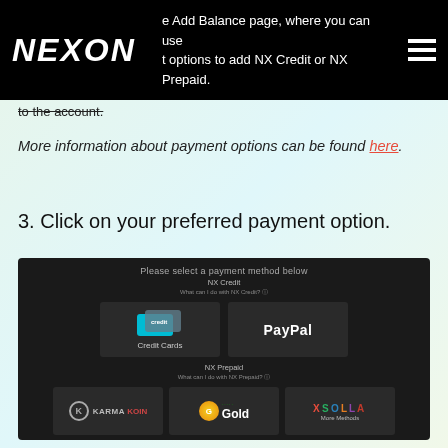NEXON | e Add Balance page, where you can use t options to add NX Credit or NX Prepaid.
to the account.
More information about payment options can be found here.
3. Click on your preferred payment option.
[Figure (screenshot): Screenshot of Nexon payment method selection screen showing NX Credit options (Credit Cards, PayPal) and NX Prepaid options (Karma Koin, Super Gold, Xsolla More Methods). Title reads 'Please select a payment method below'.]